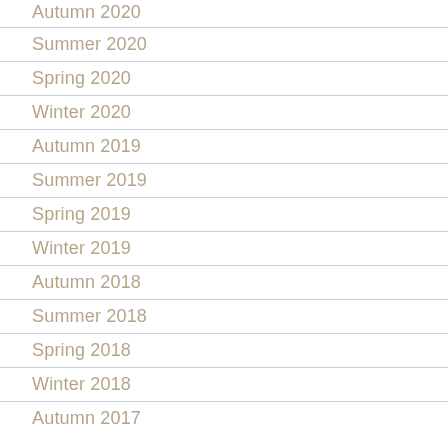Autumn 2020
Summer 2020
Spring 2020
Winter 2020
Autumn 2019
Summer 2019
Spring 2019
Winter 2019
Autumn 2018
Summer 2018
Spring 2018
Winter 2018
Autumn 2017